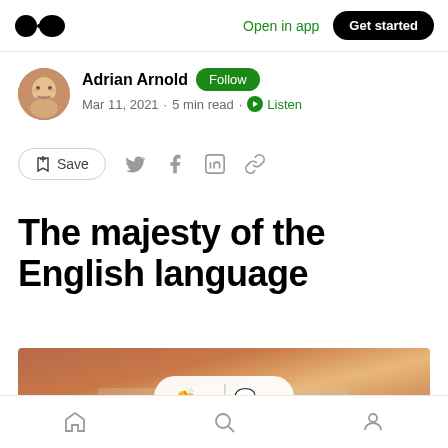Medium logo | Open in app | Get started
Adrian Arnold · Follow
Mar 11, 2021 · 5 min read · Listen
Save (share icons)
The majesty of the English language
[Figure (photo): Photo of an open book/dictionary with warm orange background tones, overlaid with a clapping hands and speech bubble pill widget]
Home | Search | Profile navigation icons